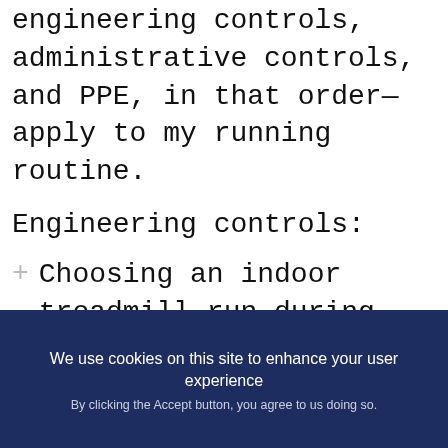engineering controls, administrative controls, and PPE, in that order—apply to my running routine.
Engineering controls:
Choosing an indoor treadmill run during inclement weather,
We use cookies on this site to enhance your user experience
By clicking the Accept button, you agree to us doing so.